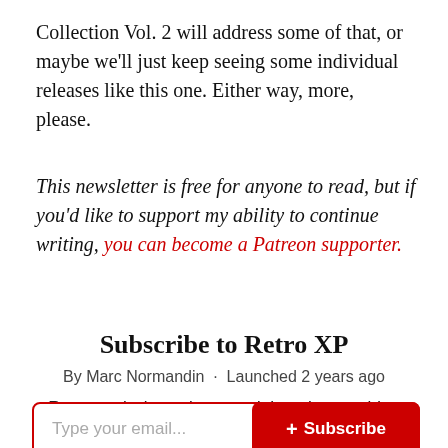Collection Vol. 2 will address some of that, or maybe we’ll just keep seeing some individual releases like this one. Either way, more, please.
This newsletter is free for anyone to read, but if you’d like to support my ability to continue writing, you can become a Patreon supporter.
Subscribe to Retro XP
By Marc Normandin · Launched 2 years ago
Retro analysis, reviews, and thoughts on video games you've played before
Type your email... + Subscribe